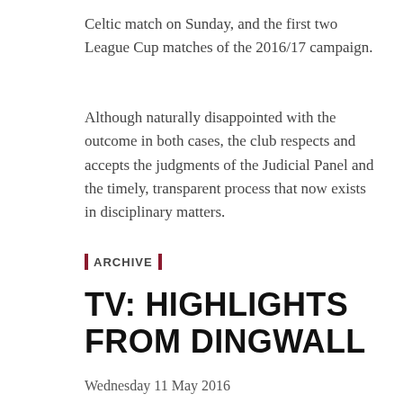Celtic match on Sunday, and the first two League Cup matches of the 2016/17 campaign.
Although naturally disappointed with the outcome in both cases, the club respects and accepts the judgments of the Judicial Panel and the timely, transparent process that now exists in disciplinary matters.
ARCHIVE
TV: HIGHLIGHTS FROM DINGWALL
Wednesday 11 May 2016